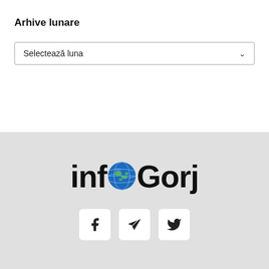Arhive lunare
Selectează luna
[Figure (logo): infoGorj logo with globe replacing the letter 'o' in 'info']
[Figure (infographic): Social media icons: Facebook, Telegram, Twitter]